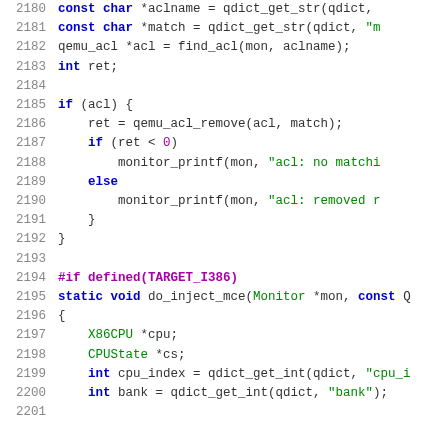[Figure (screenshot): Source code listing showing C code lines 2180-2200 with syntax highlighting. Line numbers in gray on left, keywords in blue, string literals in green, preprocessor directives in purple.]